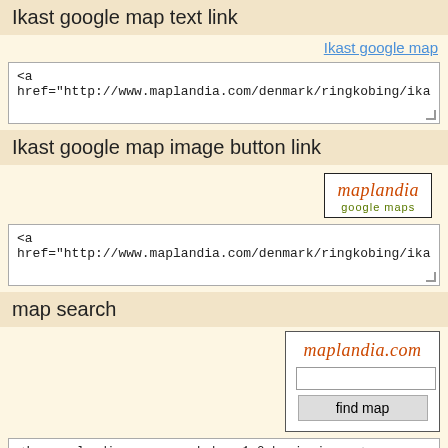Ikast google map text link
Ikast google map
<a
href="http://www.maplandia.com/denmark/ringkobing/ika
Ikast google map image button link
[Figure (logo): Maplandia google maps logo button with orange italic text 'maplandia' and green 'google maps' subtitle]
<a
href="http://www.maplandia.com/denmark/ringkobing/ika
map search
[Figure (other): Maplandia.com search widget with orange italic title, text input field, and 'find map' button]
<!-- maplandia.com search-box 1.0 beginning -->
<div style="margin:0px;text-align:center;border:1px solid
#111;width:135px;padding:8px 4px;background: #FFF;">
<form action="http://www.maplandia.com/search/"